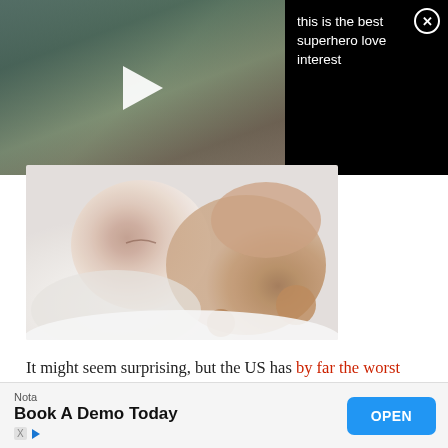[Figure (screenshot): Video overlay with dark background, play button on left thumbnail area and text 'this is the best superhero love interest' on right, with X close button]
[Figure (photo): Close-up photo of a sleeping newborn baby in a white knit outfit cuddling with a brown teddy bear]
It might seem surprising, but the US has by far the worst first-day infant mortality rate in the developed world. Every year in the US, about 11,000 babies die on the first day of their lives. The number is 50 percent more than all other developed countries combined, and while one doesn't typically think of the States as a dangerous, unsafe ... common-sense
[Figure (screenshot): Advertisement banner for Nota with text 'Book A Demo Today' and a blue OPEN button]